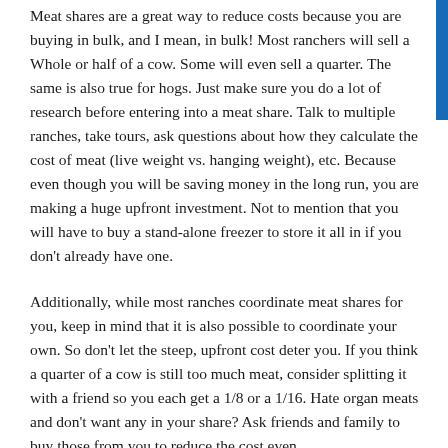Meat shares are a great way to reduce costs because you are buying in bulk, and I mean, in bulk! Most ranchers will sell a Whole or half of a cow. Some will even sell a quarter. The same is also true for hogs. Just make sure you do a lot of research before entering into a meat share. Talk to multiple ranches, take tours, ask questions about how they calculate the cost of meat (live weight vs. hanging weight), etc. Because even though you will be saving money in the long run, you are making a huge upfront investment. Not to mention that you will have to buy a stand-alone freezer to store it all in if you don't already have one.
Additionally, while most ranches coordinate meat shares for you, keep in mind that it is also possible to coordinate your own. So don't let the steep, upfront cost deter you. If you think a quarter of a cow is still too much meat, consider splitting it with a friend so you each get a 1/8 or a 1/16. Hate organ meats and don't want any in your share? Ask friends and family to buy those from you to reduce the cost even